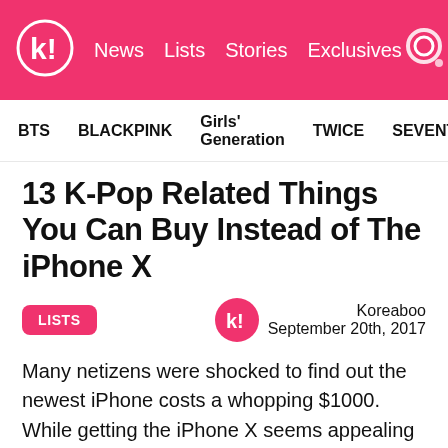k! News Lists Stories Exclusives
BTS  BLACKPINK  Girls' Generation  TWICE  SEVENTEEN
13 K-Pop Related Things You Can Buy Instead of The iPhone X
LISTS  Koreaboo  September 20th, 2017
Many netizens were shocked to find out the newest iPhone costs a whopping $1000. While getting the iPhone X seems appealing to those who can afford it, here are a few K-Pop related items that could be a better investment.